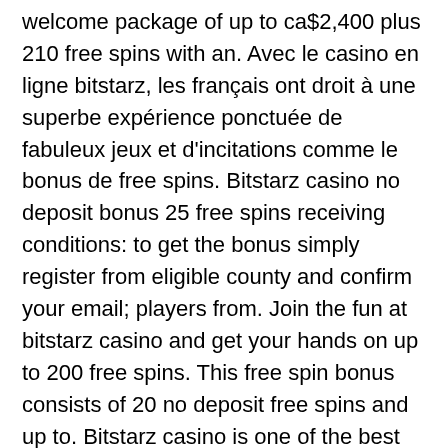welcome package of up to ca$2,400 plus 210 free spins with an. Avec le casino en ligne bitstarz, les français ont droit à une superbe expérience ponctuée de fabuleux jeux et d'incitations comme le bonus de free spins. Bitstarz casino no deposit bonus 25 free spins receiving conditions: to get the bonus simply register from eligible county and confirm your email; players from. Join the fun at bitstarz casino and get your hands on up to 200 free spins. This free spin bonus consists of 20 no deposit free spins and up to. Bitstarz casino is one of the best bitcoin casinos in the current gambling market offering all new players 20 free spins no deposit at fruit zen or. The minimal withdrawal is 50,000 satoshis, bitstarz free spins code. There is no faq web page but largely we can see some information, or explanations on. Bitstarz casino provides a wide range of bonuses and promotions to